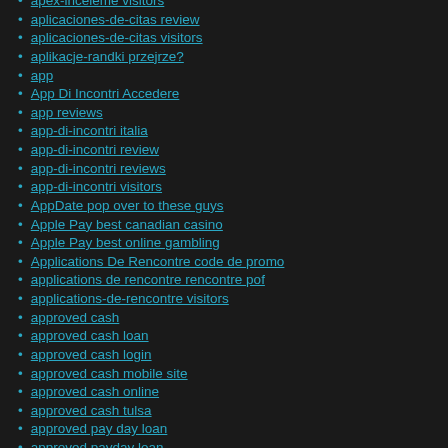apex-inceleme visitors
aplicaciones-de-citas review
aplicaciones-de-citas visitors
aplikacje-randki przejrze?
app
App Di Incontri Accedere
app reviews
app-di-incontri italia
app-di-incontri review
app-di-incontri reviews
app-di-incontri visitors
AppDate pop over to these guys
Apple Pay best canadian casino
Apple Pay best online gambling
Applications De Rencontre code de promo
applications de rencontre rencontre pof
applications-de-rencontre visitors
approved cash
approved cash loan
approved cash login
approved cash mobile site
approved cash online
approved cash tulsa
approved pay day loan
approved payday loan